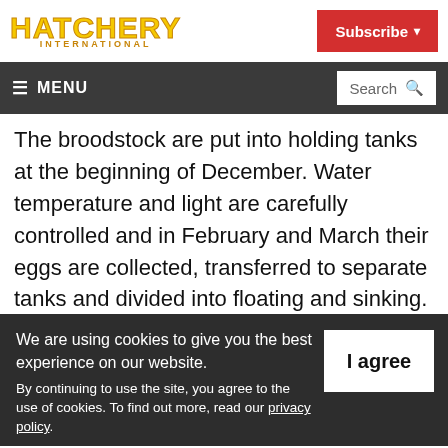HATCHERY INTERNATIONAL
Subscribe
≡ MENU  Search
The broodstock are put into holding tanks at the beginning of December. Water temperature and light are carefully controlled and in February and March their eggs are collected, transferred to separate tanks and divided into floating and sinking. Dead eggs that settle at the bottom are removed by
We are using cookies to give you the best experience on our website.
By continuing to use the site, you agree to the use of cookies. To find out more, read our privacy policy.